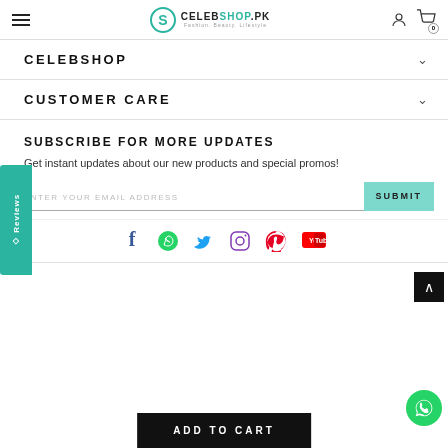[Figure (screenshot): CelebShop.pk website header with hamburger menu, logo, user icon and cart icon]
CELEBSHOP
CUSTOMER CARE
SUBSCRIBE FOR MORE UPDATES
Get instant updates about our new products and special promos!
ENTER YOUR EMAIL ADDRESS
[Figure (screenshot): Social media icons: Facebook, WhatsApp, Twitter, Instagram, Pinterest, YouTube]
ADD TO CART